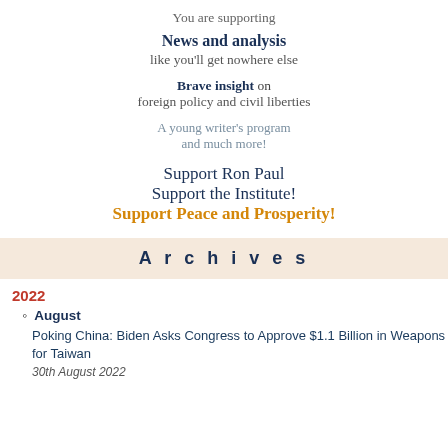You are supporting
News and analysis
like you'll get nowhere else
Brave insight on foreign policy and civil liberties
A young writer's program and much more!
Support Ron Paul
Support the Institute!
Support Peace and Prosperity!
Archives
2022
August
Poking China: Biden Asks Congress to Approve $1.1 Billion in Weapons for Taiwan
30th August 2022